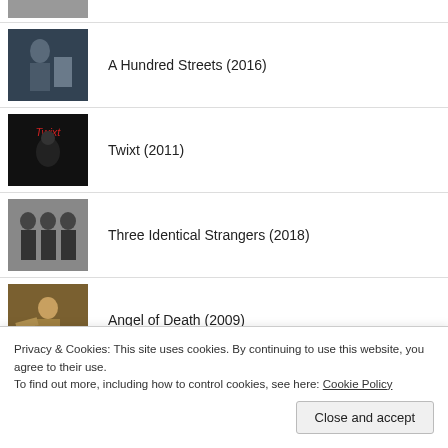A Hundred Streets (2016)
Twixt (2011)
Three Identical Strangers (2018)
Angel of Death (2009)
Air Bud Series (1997-2003)
Privacy & Cookies: This site uses cookies. By continuing to use this website, you agree to their use.
To find out more, including how to control cookies, see here: Cookie Policy
Close and accept